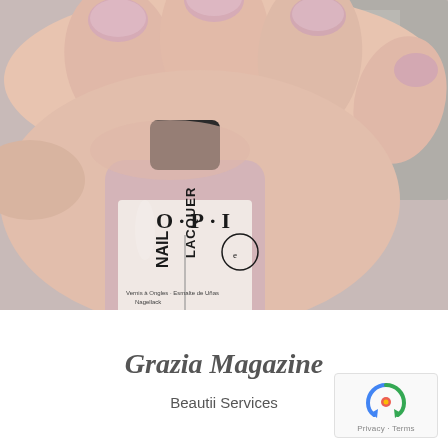[Figure (photo): Close-up photograph of a hand holding an OPI Nail Lacquer bottle in a nude/mauve pink shade. The nails are painted in the same color. The bottle label reads: O·P·I NAIL LACQUER, Vernis à Ongles · Esmalte de Uñas, Nagellack, 0.5 FL Oz.]
Grazia Magazine
Beautii Services